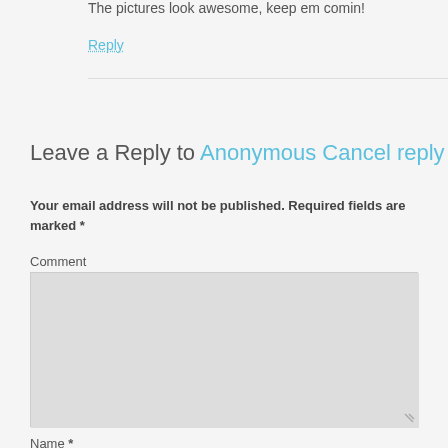The pictures look awesome, keep em comin!
Reply
Leave a Reply to Anonymous Cancel reply
Your email address will not be published. Required fields are marked *
Comment
Name *